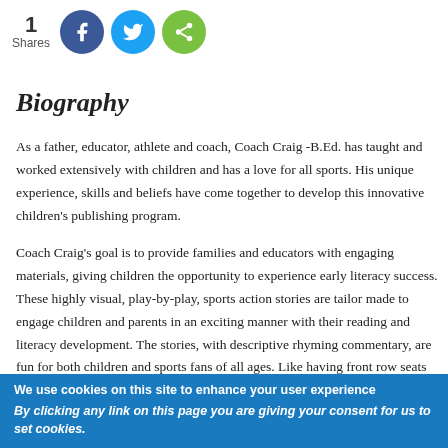[Figure (infographic): Social share count showing '1 Shares' with Facebook (blue circle), Twitter (light blue circle), and share (green circle) icons]
Biography
As a father, educator, athlete and coach, Coach Craig -B.Ed. has taught and worked extensively with children and has a love for all sports. His unique experience, skills and beliefs have come together to develop this innovative children's publishing program.
Coach Craig's goal is to provide families and educators with engaging materials, giving children the opportunity to experience early literacy success. These highly visual, play-by-play, sports action stories are tailor made to engage children and parents in an exciting manner with their reading and literacy development. The stories, with descriptive rhyming commentary, are fun for both children and sports fans of all ages. Like having front row seats to real game action. Each story also offers teaching moments to reinforce "values education and positive character development" as the game plots of athletic action feature
We use cookies on this site to enhance your user experience
By clicking any link on this page you are giving your consent for us to set cookies.